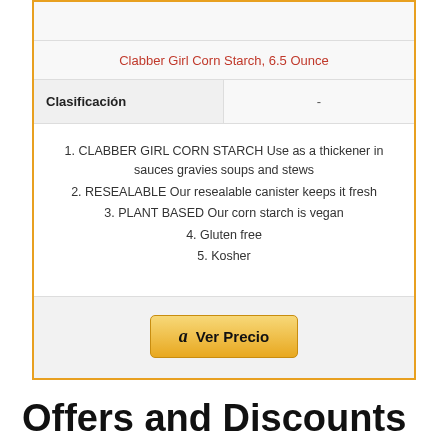Clabber Girl Corn Starch, 6.5 Ounce
| Clasificación | - |
| --- | --- |
1. CLABBER GIRL CORN STARCH Use as a thickener in sauces gravies soups and stews
2. RESEALABLE Our resealable canister keeps it fresh
3. PLANT BASED Our corn starch is vegan
4. Gluten free
5. Kosher
Ver Precio
Offers and Discounts